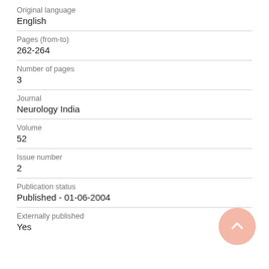Original language
English
Pages (from-to)
262-264
Number of pages
3
Journal
Neurology India
Volume
52
Issue number
2
Publication status
Published - 01-06-2004
Externally published
Yes